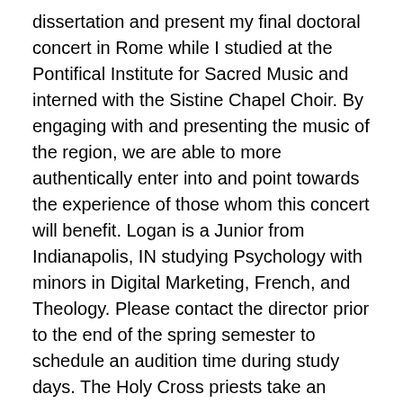dissertation and present my final doctoral concert in Rome while I studied at the Pontifical Institute for Sacred Music and interned with the Sistine Chapel Choir. By engaging with and presenting the music of the region, we are able to more authentically enter into and point towards the experience of those whom this concert will benefit. Logan is a Junior from Indianapolis, IN studying Psychology with minors in Digital Marketing, French, and Theology. Please contact the director prior to the end of the spring semester to schedule an audition time during study days. The Holy Cross priests take an intellectual, yet colloquial approach in their homilies, which makes the preaching engaging in a holistic way. As a conductor, I hope to make the musical experience as compelling as possible for the students. JJW: Definitely all of the above. I have deeply appreciated the opportunity to work with each of you as the Assistant Director of the Notre Dame Folk Choir. It's in a basilica, which is a really beautiful space, but definitely not informal. "We are